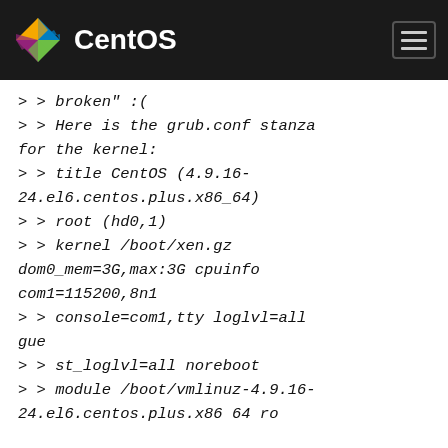CentOS
> > broken" :(
> > Here is the grub.conf stanza for the kernel:
> > title CentOS (4.9.16-24.el6.centos.plus.x86_64)
> > root (hd0,1)
> > kernel /boot/xen.gz dom0_mem=3G,max:3G cpuinfo com1=115200,8n1
> > console=com1,tty loglvl=all gue
> > st_loglvl=all noreboot
> > module /boot/vmlinuz-4.9.16-24.el6.centos.plus.x86 64 ro